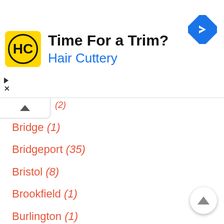[Figure (other): Hair Cuttery advertisement banner with yellow logo, text 'Time For a Trim?' and 'Hair Cuttery' in blue, and a blue navigation/directions diamond icon on the right]
(1) [partial, cut off at top]
Bridge (1)
Bridgeport (35)
Bristol (8)
Brookfield (1)
Burlington (1)
Chaplin (1)
Cheshire (2)
Chester (1)
Clinton (2) [partial, cut off at bottom]